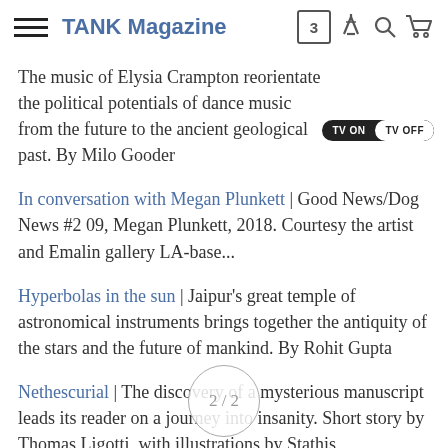TANK Magazine
The music of Elysia Crampton reorientate political potentials of dance music from the future to the ancient geological past. By Milo Gooder
In conversation with Megan Plunkett | Good News/Dog News #2 09, Megan Plunkett, 2018. Courtesy the artist and Emalin gallery LA-base...
Hyperbolas in the sun | Jaipur's great temple of astronomical instruments brings together the antiquity of the stars and the future of mankind. By Rohit Gupta
Nethescurial | The discovery of a mysterious manuscript leads its reader on a journey into insanity. Short story by Thomas Ligotti, with illustrations by Stathis Tsemberlidis